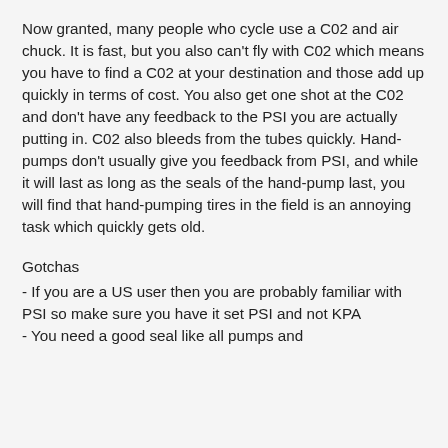Now granted, many people who cycle use a C02 and air chuck. It is fast, but you also can't fly with C02 which means you have to find a C02 at your destination and those add up quickly in terms of cost. You also get one shot at the C02 and don't have any feedback to the PSI you are actually putting in. C02 also bleeds from the tubes quickly. Hand-pumps don't usually give you feedback from PSI, and while it will last as long as the seals of the hand-pump last, you will find that hand-pumping tires in the field is an annoying task which quickly gets old.
Gotchas
- If you are a US user then you are probably familiar with PSI so make sure you have it set PSI and not KPA
- You need a good seal like all pumps and